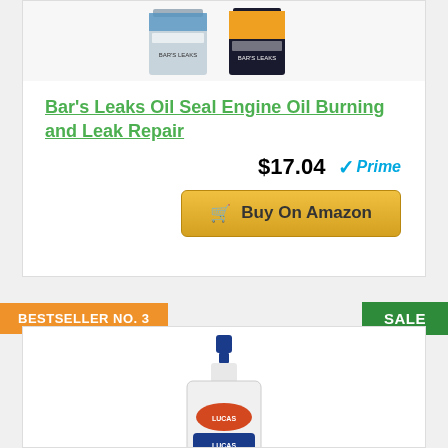[Figure (photo): Bar's Leaks Oil Seal Engine Oil product bottles]
Bar's Leaks Oil Seal Engine Oil Burning and Leak Repair
$17.04 Prime
Buy On Amazon
BESTSELLER NO. 3
SALE
[Figure (photo): Lucas Oil 10001 Heavy Duty Oil Stabilizer bottle]
Lucas Oil 10001 Heavy Duty Oil...